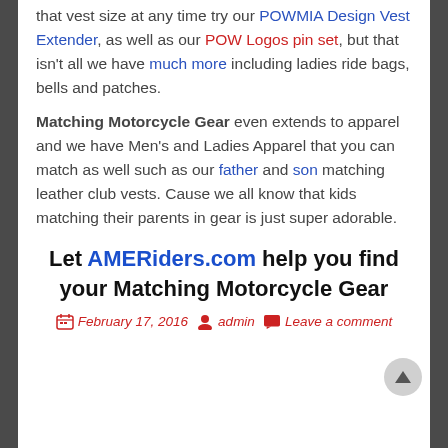that vest size at any time try our POWMIA Design Vest Extender, as well as our POW Logos pin set, but that isn't all we have much more including ladies ride bags, bells and patches.
Matching Motorcycle Gear even extends to apparel and we have Men's and Ladies Apparel that you can match as well such as our father and son matching leather club vests. Cause we all know that kids matching their parents in gear is just super adorable.
Let AMERiders.com help you find your Matching Motorcycle Gear
February 17, 2016  admin  Leave a comment